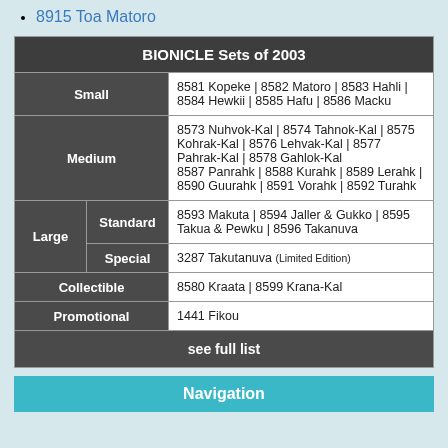8915 Toa Matoro
| BIONICLE Sets of 2003 |
| --- |
| Small | 8581 Kopeke | 8582 Matoro | 8583 Hahli | 8584 Hewkii | 8585 Hafu | 8586 Macku |
| Medium | 8573 Nuhvok-Kal | 8574 Tahnok-Kal | 8575 Kohrak-Kal | 8576 Lehvak-Kal | 8577 Pahrak-Kal | 8578 Gahlok-Kal
8587 Panrahk | 8588 Kurahk | 8589 Lerahk | 8590 Guurahk | 8591 Vorahk | 8592 Turahk |
| Large | Standard | 8593 Makuta | 8594 Jaller & Gukko | 8595 Takua & Pewku | 8596 Takanuva |
| Large | Special | 3287 Takutanuva (Limited Edition) |
| Collectible | 8580 Kraata | 8599 Krana-Kal |
| Promotional | 1441 Fikou |
| see full list |
Navigation